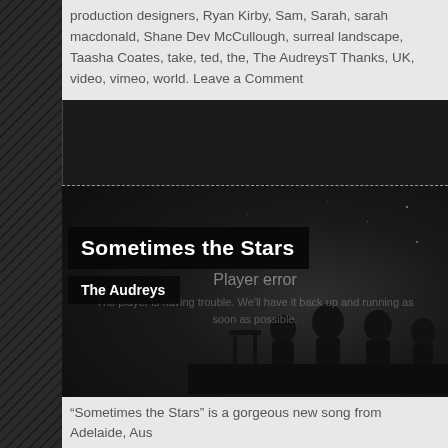production designers, Ryan Kirby, Sam, Sarah, sarah macdonald, Shane Dey McCullough, surreal landscape, Taasha Coates, take, ted, the, The AudreysT Thanks, UK, video, vimeo, world. Leave a Comment
[Figure (screenshot): Vimeo video player showing 'Sometimes the Stars' by The Audreys. Dark atmospheric thumbnail with silhouetted figures in a surreal nighttime landscape. Player shows error state with 'Player error' message. Video title overlay reads 'Sometimes the Stars' and artist overlay reads 'The Audreys'.]
“Sometimes the Stars” is a gorgeous new song from Adelaide, Aus